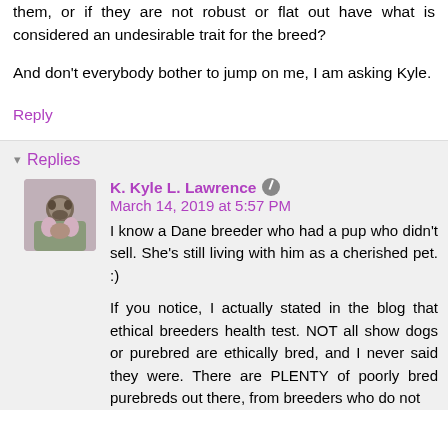them, or if they are not robust or flat out have what is considered an undesirable trait for the breed?
And don't everybody bother to jump on me, I am asking Kyle.
Reply
Replies
K. Kyle L. Lawrence  March 14, 2019 at 5:57 PM
I know a Dane breeder who had a pup who didn't sell. She's still living with him as a cherished pet. :)
If you notice, I actually stated in the blog that ethical breeders health test. NOT all show dogs or purebred are ethically bred, and I never said they were. There are PLENTY of poorly bred purebreds out there, from breeders who do not health test with their dogs, there are...